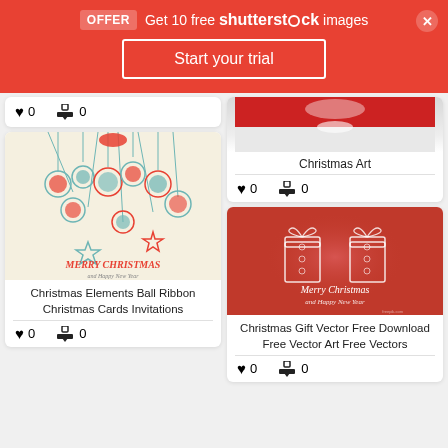OFFER  Get 10 free shutterstock images  Start your trial
[Figure (illustration): Partial card bottom showing heart icon 0 and download icon 0]
[Figure (illustration): Christmas Elements Ball Ribbon Christmas Cards Invitations - ornament balls on cream background with Merry Christmas text]
Christmas Elements Ball Ribbon Christmas Cards Invitations
[Figure (illustration): Christmas Art - partial image of silver/white Christmas decorations on grey/white background]
Christmas Art
[Figure (illustration): Christmas Gift Vector Free Download Free Vector Art Free Vectors - white gift box outline on red background with Merry Christmas and Happy New Year text]
Christmas Gift Vector Free Download Free Vector Art Free Vectors